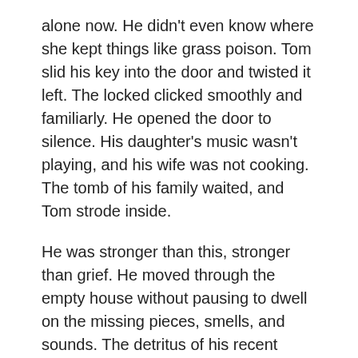alone now. He didn't even know where she kept things like grass poison. Tom slid his key into the door and twisted it left. The locked clicked smoothly and familiarly. He opened the door to silence. His daughter's music wasn't playing, and his wife was not cooking. The tomb of his family waited, and Tom strode inside.
He was stronger than this, stronger than grief. He moved through the empty house without pausing to dwell on the missing pieces, smells, and sounds. The detritus of his recent existence made the house over so that he could almost imagine that it wasn't his home.
A quick glance in the fridge confirmed that the last of the food from the funeral had gone over. Rather than go through the moldy mess, Tom grabbed the coffee out of the pantry and set his pot to perking.
"You know better than to drink coffee this late. You